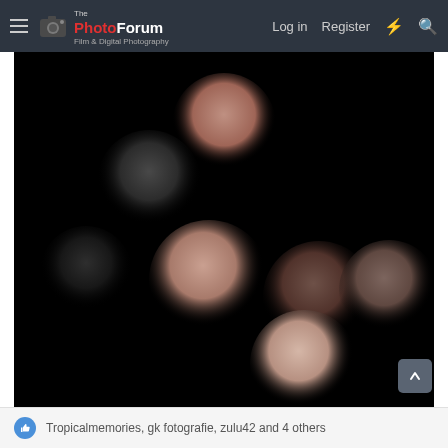ThePhotoForum — Film & Digital Photography | Log in | Register
[Figure (photo): Dark background photograph showing multiple softly out-of-focus bokeh balls (circular orbs) in shades of pinkish-rose, dark brown, and black, scattered across a pure black background. The spheres vary in size and are arranged diagonally across the frame — two near the upper left, two on the middle left, two in the center-right, and one at the lower center.]
Tropicalmemories, gk fotografie, zulu42 and 4 others